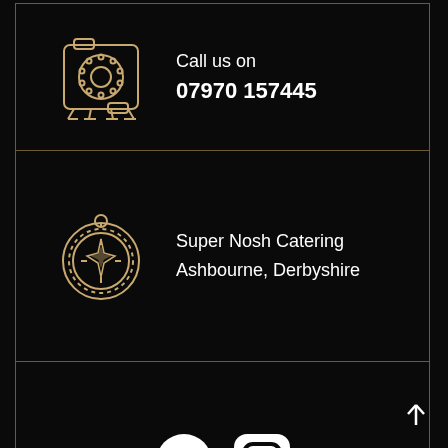[Figure (illustration): Golden outline vintage telephone icon on black background]
Call us on
07970 157445
[Figure (illustration): Golden outline compass icon on black background]
Super Nosh Catering
Ashbourne, Derbyshire
[Figure (illustration): Facebook and Instagram social media icons in white on black background]
[Figure (illustration): Up arrow icon in white]